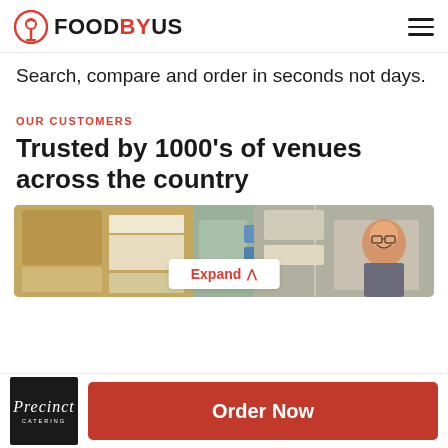FOODBYUS
Search, compare and order in seconds not days.
OUR CUSTOMERS
Trusted by 1000's of venues across the country
[Figure (photo): A smiling man in a commercial kitchen/food storage area with boxes and supplies visible]
Expand
[Figure (logo): Precinct Catering logo — white italic script on black background]
Order Now